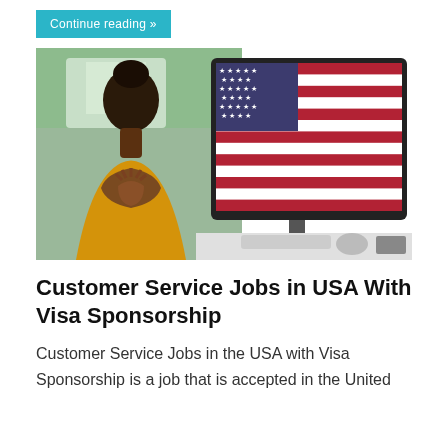Continue reading »
[Figure (photo): Composite image: a Black woman in a yellow outfit with hands clasped as if praying, seated at a desk, next to a computer monitor displaying an American flag.]
Customer Service Jobs in USA With Visa Sponsorship
Customer Service Jobs in the USA with Visa Sponsorship is a job that is accepted in the United